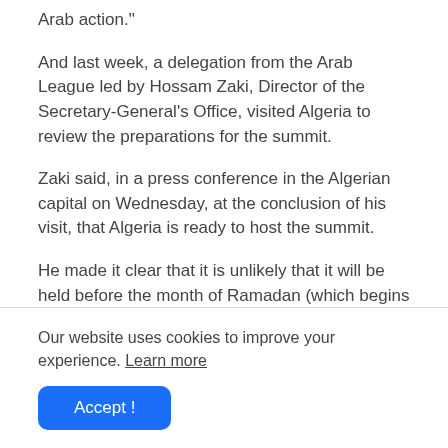Arab action."
And last week, a delegation from the Arab League led by Hossam Zaki, Director of the Secretary-General's Office, visited Algeria to review the preparations for the summit.
Zaki said, in a press conference in the Algerian capital on Wednesday, at the conclusion of his visit, that Algeria is ready to host the summit.
He made it clear that it is unlikely that it will be held before the month of Ramadan (which begins on April 2, next), and that the next meeting of Arab foreign ministers will decide the date of that.
Our website uses cookies to improve your experience. Learn more
Accept !